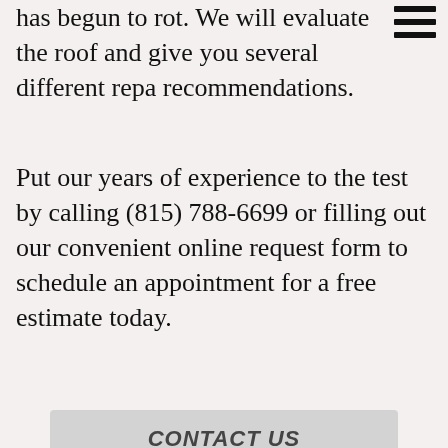has begun to rot. We will evaluate the roof and give you several different repair recommendations.
Put our years of experience to the test by calling (815) 788-6699 or filling out our convenient online request form to schedule an appointment for a free estimate today.
CONTACT US
[Figure (other): Contact form with fields: Your Name*, Your Phone*, Your Email*, I'm Interested In (dropdown), *Verify 3+1=? field, and a red submit button.]